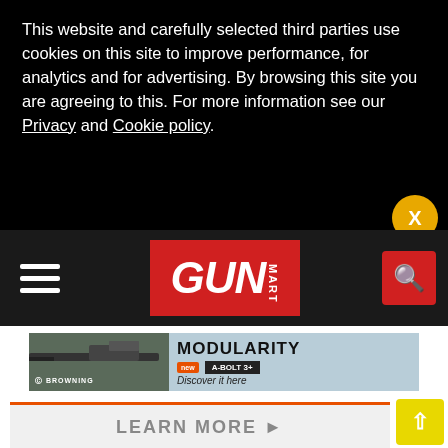This website and carefully selected third parties use cookies on this site to improve performance, for analytics and for advertising. By browsing this site you are agreeing to this. For more information see our Privacy and Cookie policy.
[Figure (logo): Gun Mart magazine logo on red background with hamburger menu and search button on dark navigation bar]
[Figure (photo): Browning A-Bolt 3+ rifle advertisement banner with text MODULARITY, NEW badge, and Discover it here tagline]
LEARN MORE ▶